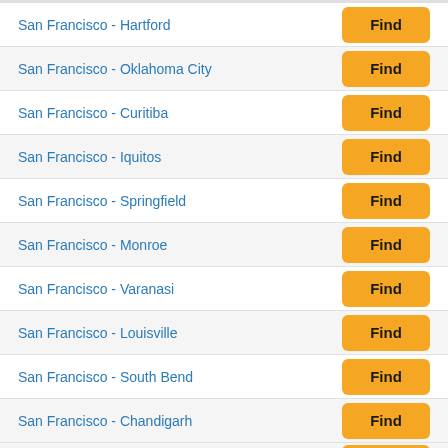San Francisco - Hartford
San Francisco - Oklahoma City
San Francisco - Curitiba
San Francisco - Iquitos
San Francisco - Springfield
San Francisco - Monroe
San Francisco - Varanasi
San Francisco - Louisville
San Francisco - South Bend
San Francisco - Chandigarh